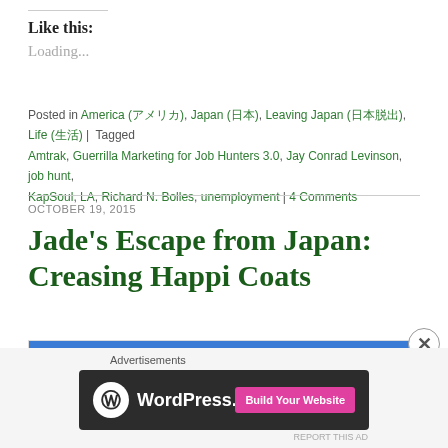Like this:
Loading...
Posted in America (アメリカ), Japan (日本), Leaving Japan (日本脱出), Life (生活) | Tagged Amtrak, Guerrilla Marketing for Job Hunters 3.0, Jay Conrad Levinson, job hunt, KapSoul, LA, Richard N. Bolles, unemployment | 4 Comments
OCTOBER 19, 2015
Jade's Escape from Japan: Creasing Happi Coats
[Figure (photo): Blue background image with red bold text reading CREASING]
Advertisements
[Figure (screenshot): WordPress.com advertisement banner with logo and Build Your Website button]